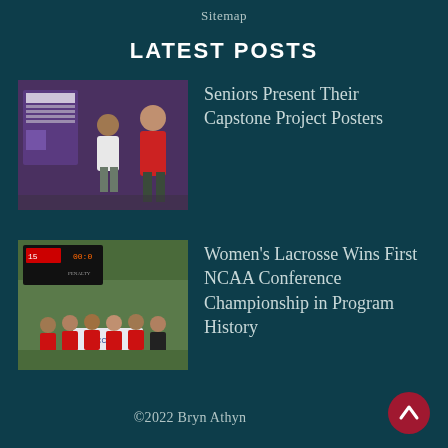Sitemap
LATEST POSTS
[Figure (photo): Two people standing near a poster display board at an academic event; one person in a white top, another in a red shirt.]
Seniors Present Their Capstone Project Posters
[Figure (photo): Women's lacrosse team posing with a banner on a sports field; scoreboard visible in the background.]
Women's Lacrosse Wins First NCAA Conference Championship in Program History
©2022 Bryn Athyn